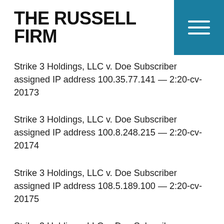THE RUSSELL FIRM
Strike 3 Holdings, LLC v. Doe Subscriber assigned IP address 100.35.77.141 — 2:20-cv-20173
Strike 3 Holdings, LLC v. Doe Subscriber assigned IP address 100.8.248.215 — 2:20-cv-20174
Strike 3 Holdings, LLC v. Doe Subscriber assigned IP address 108.5.189.100 — 2:20-cv-20175
Strike 3 Holdings, LLC v. Doe Subscriber